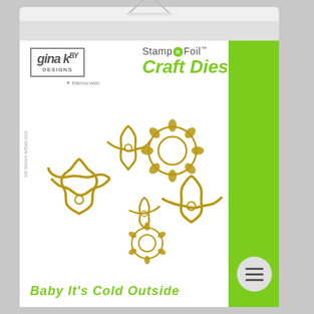[Figure (photo): Product packaging for Gina K Designs Stamp n Foil Craft Dies - Baby It's Cold Outside. Shows gold foil snowflake craft dies on white background with green bar on right side. Package has hanger hole at top.]
gina k. DESIGNS * thermo·web
Stamp n Foil™ Craft Dies
not shown actual size
Baby It's Cold Outside